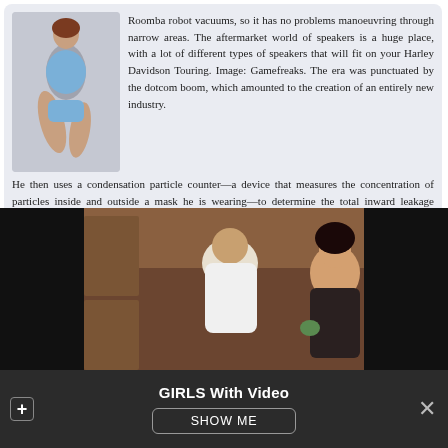Roomba robot vacuums, so it has no problems manoeuvring through narrow areas. The aftermarket world of speakers is a huge place, with a lot of different types of speakers that will fit on your Harley Davidson Touring. Image: Gamefreaks. The era was punctuated by the dotcom boom, which amounted to the creation of an entirely new industry. He then uses a condensation particle counter—a device that measures the concentration of particles inside and outside a mask he is wearing—to determine the total inward leakage through and around the mask.
[Figure (illustration): Illustrated figure of a woman in a blue outfit kneeling]
[Figure (screenshot): Video player showing two people in a scene, one bald man in white and a dark-haired woman]
GIRLS With Video
SHOW ME